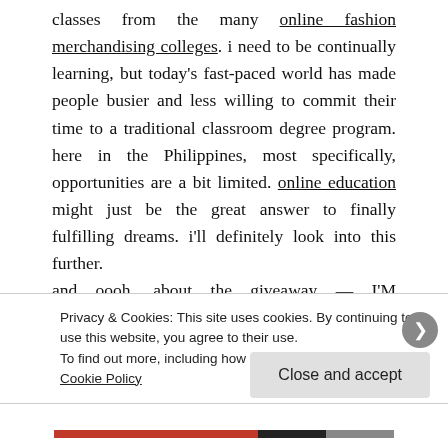classes from the many online fashion merchandising colleges. i need to be continually learning, but today's fast-paced world has made people busier and less willing to commit their time to a traditional classroom degree program. here in the Philippines, most specifically, opportunities are a bit limited. online education might just be the great answer to finally fulfilling dreams. i'll definitely look into this further.
and oooh, about the giveaway — I'M EXTENDING it until July 20, 2011. i feel i haven't given more information about and didn't give others a chance
Privacy & Cookies: This site uses cookies. By continuing to use this website, you agree to their use.
To find out more, including how to control cookies, see here: Cookie Policy
Close and accept